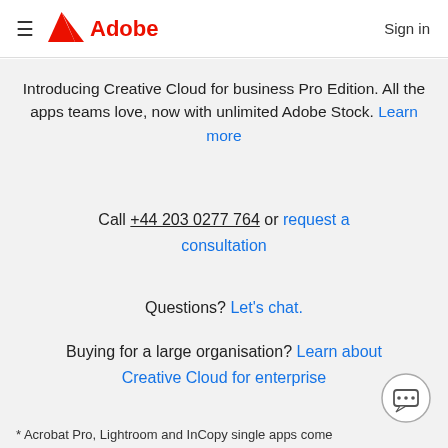≡ Adobe  Sign in
Introducing Creative Cloud for business Pro Edition. All the apps teams love, now with unlimited Adobe Stock. Learn more
Call +44 203 0277 764 or request a consultation
Questions? Let's chat.
Buying for a large organisation? Learn about Creative Cloud for enterprise
[Figure (illustration): Chat bubble icon button in bottom right corner]
* Acrobat Pro, Lightroom and InCopy single apps come